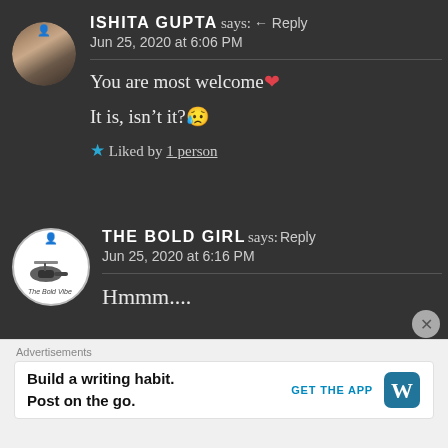ISHITA GUPTA says: ↩ Reply
Jun 25, 2020 at 6:06 PM
You are most welcome ❤
It is, isn't it? 😢
★ Liked by 1 person
THE BOLD GIRL says: Reply
Jun 25, 2020 at 6:16 PM
Hmmm....
Advertisements
Build a writing habit.
Post on the go.
GET THE APP